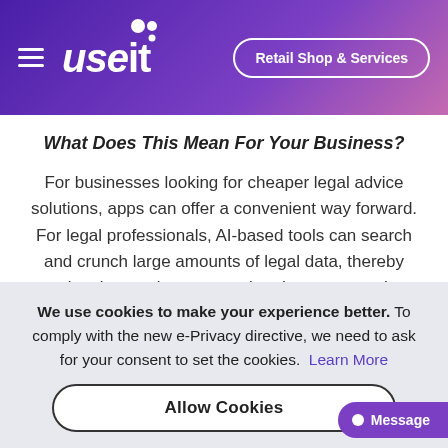[Figure (logo): useit logo with hamburger menu icon and 'Retail Shop & Services' button on purple gradient header background]
What Does This Mean For Your Business?
For businesses looking for cheaper legal advice solutions, apps can offer a convenient way forward. For legal professionals, AI-based tools can search and crunch large amounts of legal data, thereby saving time and money, and perhaps uncovering
We use cookies to make your experience better. To comply with the new e-Privacy directive, we need to ask for your consent to set the cookies. Learn More
Allow Cookies